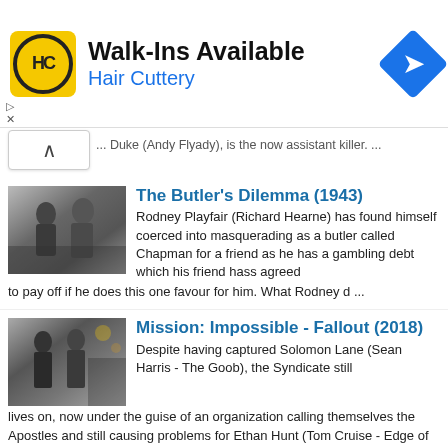[Figure (other): Hair Cuttery advertisement banner with logo, 'Walk-Ins Available' heading and navigation icon]
... Duke (Andy Flyady), is the now assistant killer. ...
[Figure (photo): Black and white still from The Butler's Dilemma (1943)]
The Butler's Dilemma (1943)
Rodney Playfair (Richard Hearne) has found himself coerced into masquerading as a butler called Chapman for a friend as he has a gambling debt which his friend hass agreed to pay off if he does this one favour for him. What Rodney d ...
[Figure (photo): Movie still from Mission: Impossible - Fallout (2018) showing two men]
Mission: Impossible - Fallout (2018)
Despite having captured Solomon Lane (Sean Harris - The Goob), the Syndicate still lives on, now under the guise of an organization calling themselves the Apostles and still causing problems for Ethan Hunt (Tom Cruise - Edge of Tomo ...
[Figure (photo): Black and white still from My Brother's Keeper (1948)]
My Brother's Keeper (1948)
George Martin (Jack Warner - Against the Wind) had been a war hero but on returning to civvy street turned to a life of crime, which is how he ends up on his way to prison.